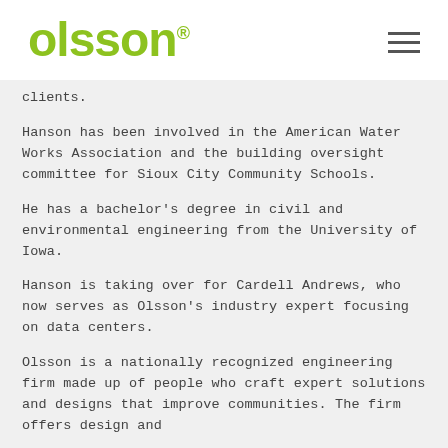olsson
clients.
Hanson has been involved in the American Water Works Association and the building oversight committee for Sioux City Community Schools.
He has a bachelor’s degree in civil and environmental engineering from the University of Iowa.
Hanson is taking over for Cardell Andrews, who now serves as Olsson’s industry expert focusing on data centers.
Olsson is a nationally recognized engineering firm made up of people who craft expert solutions and designs that improve communities. The firm offers design and